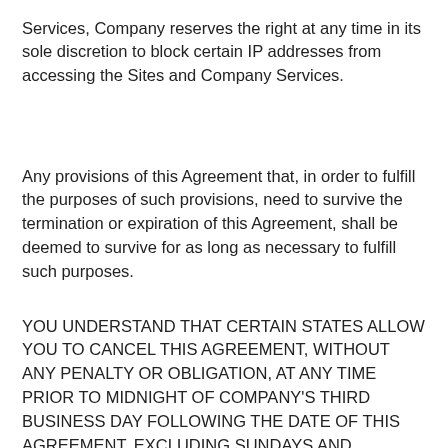Services, Company reserves the right at any time in its sole discretion to block certain IP addresses from accessing the Sites and Company Services.
Any provisions of this Agreement that, in order to fulfill the purposes of such provisions, need to survive the termination or expiration of this Agreement, shall be deemed to survive for as long as necessary to fulfill such purposes.
YOU UNDERSTAND THAT CERTAIN STATES ALLOW YOU TO CANCEL THIS AGREEMENT, WITHOUT ANY PENALTY OR OBLIGATION, AT ANY TIME PRIOR TO MIDNIGHT OF COMPANY'S THIRD BUSINESS DAY FOLLOWING THE DATE OF THIS AGREEMENT, EXCLUDING SUNDAYS AND HOLIDAYS. TO CANCEL, CALL A COMPANY CUSTOMER CARE REPRESENTATIVE DURING NORMAL BUSINESS HOURS USING THE CONTACT INFORMATION LISTING BELOW IN